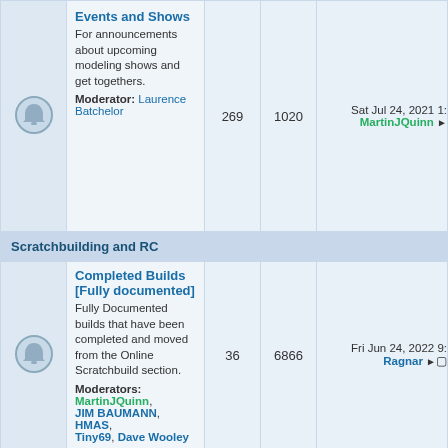|  | Forum | Posts | Threads | Last Post |
| --- | --- | --- | --- | --- |
| [icon] | Events and Shows
For announcements about upcoming modeling shows and get togethers.
Moderator: Laurence Batchelor | 269 | 1020 | Sat Jul 24, 2021 1: MartinJQuinn |
| [section] | Scratchbuilding and RC |  |  |  |
| [icon] | Completed Builds [Fully documented]
Fully Documented builds that have been completed and moved from the Online Scratchbuild section.
Moderators: MartinJQuinn, JIM BAUMANN, HMAS, Tiny69, Dave Wooley | 36 | 6866 | Fri Jun 24, 2022 9: Ragnar |
| [icon] | Completed Builds [Not documented]
Completed Scratchbuilds that have not been documented in process build logs.
Moderators: MartinJQuinn, JIM BAUMANN, HMAS, Tiny69, Dave Wooley | 119 | 761 | Wed Apr 06, 2022 2: Leo - zd |
| [icon] | Online Scratchbuild Projects
In progress online builds of Scratchbuilt ships of all scales. Remote Control and Static | 730 | 35725 | Sun Sep 04, 2022 3: Joerman29 |